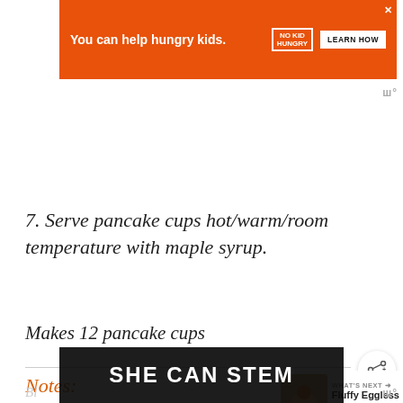[Figure (other): Orange advertisement banner: 'You can help hungry kids.' with No Kid Hungry logo and LEARN HOW button]
7. Serve pancake cups hot/warm/room temperature with maple syrup.
Makes 12 pancake cups
Notes:
-The original recipe includes some almond flour.
[Figure (other): Dark banner overlay with text SHE CAN STEM]